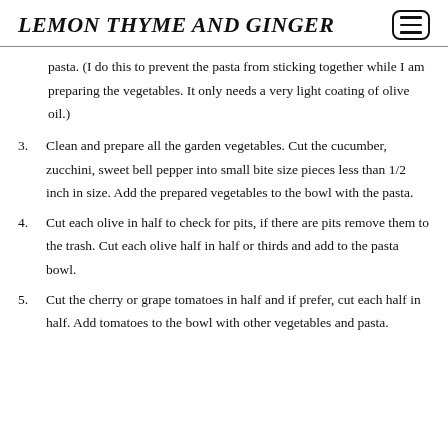LEMON THYME AND GINGER
pasta. (I do this to prevent the pasta from sticking together while I am preparing the vegetables. It only needs a very light coating of olive oil.)
3. Clean and prepare all the garden vegetables. Cut the cucumber, zucchini, sweet bell pepper into small bite size pieces less than 1/2 inch in size. Add the prepared vegetables to the bowl with the pasta.
4. Cut each olive in half to check for pits, if there are pits remove them to the trash. Cut each olive half in half or thirds and add to the pasta bowl.
5. Cut the cherry or grape tomatoes in half and if prefer, cut each half in half. Add tomatoes to the bowl with other vegetables and pasta.